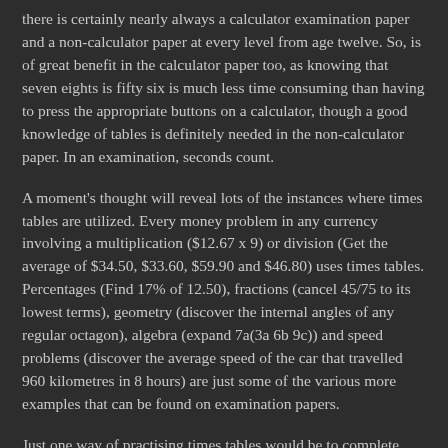there is certainly nearly always a calculator examination paper and a non-calculator paper at every level from age twelve. So, is of great benefit in the calculator paper too, as knowing that seven eights is fifty six is much less time consuming than having to press the appropriate buttons on a calculator, though a good knowledge of tables is definitely needed in the non-calculator paper. In an examination, seconds count.
A moment's thought will reveal lots of the instances where times tables are utilized. Every money problem in any currency involving a multiplication ($12.67 x 9) or division (Get the average of $34.50, $33.60, $59.90 and $46.80) uses times tables. Percentages (Find 17% of 12.50), fractions (cancel 45/75 to its lowest terms), geometry (discover the internal angles of any regular octagon), algebra (expand 7a(3a 6b 9c)) and speed problems (discover the average speed of the car that travelled 960 kilometres in 8 hours) are just some of the various more examples that can be found on examination papers.
Just one way of practising times tables would be to complete random tables squares, i.e. tables squares in which the numbers 1-10 are